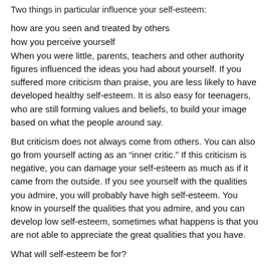Two things in particular influence your self-esteem:
how are you seen and treated by others
how you perceive yourself
When you were little, parents, teachers and other authority figures influenced the ideas you had about yourself. If you suffered more criticism than praise, you are less likely to have developed healthy self-esteem. It is also easy for teenagers, who are still forming values and beliefs, to build your image based on what the people around say.
But criticism does not always come from others. You can also go from yourself acting as an "inner critic." If this criticism is negative, you can damage your self-esteem as much as if it came from the outside. If you see yourself with the qualities you admire, you will probably have high self-esteem. You know in yourself the qualities that you admire, and you can develop low self-esteem, sometimes what happens is that you are not able to appreciate the great qualities that you have.
What will self-esteem be for?